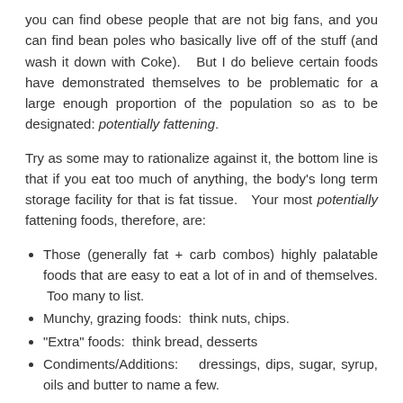you can find obese people that are not big fans, and you can find bean poles who basically live off of the stuff (and wash it down with Coke). But I do believe certain foods have demonstrated themselves to be problematic for a large enough proportion of the population so as to be designated: potentially fattening.
Try as some may to rationalize against it, the bottom line is that if you eat too much of anything, the body's long term storage facility for that is fat tissue. Your most potentially fattening foods, therefore, are:
Those (generally fat + carb combos) highly palatable foods that are easy to eat a lot of in and of themselves. Too many to list.
Munchy, grazing foods: think nuts, chips.
"Extra" foods: think bread, desserts
Condiments/Additions: dressings, dips, sugar, syrup, oils and butter to name a few.